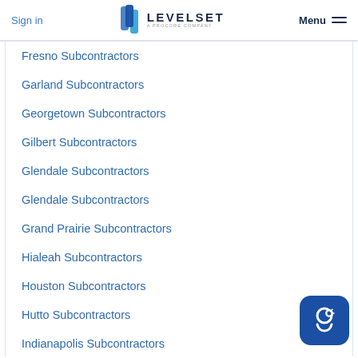Sign in | LEVELSET A PROCORE COMPANY | Menu
Fresno Subcontractors
Garland Subcontractors
Georgetown Subcontractors
Gilbert Subcontractors
Glendale Subcontractors
Glendale Subcontractors
Grand Prairie Subcontractors
Hialeah Subcontractors
Houston Subcontractors
Hutto Subcontractors
Indianapolis Subcontractors